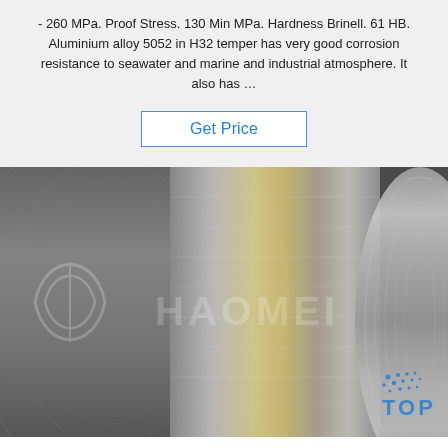- 260 MPa. Proof Stress. 130 Min MPa. Hardness Brinell. 61 HB. Aluminium alloy 5052 in H32 temper has very good corrosion resistance to seawater and marine and industrial atmosphere. It also has …
Get Price
[Figure (photo): Close-up photo of rolled aluminium alloy coils/sheets with shiny metallic surface. Watermark text 'HAOMEI' and logo visible. 'TOP' badge with dots in bottom right corner.]